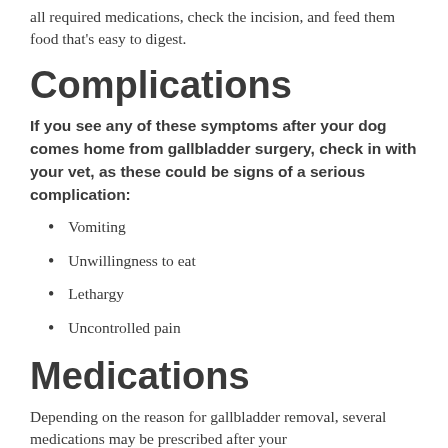all required medications, check the incision, and feed them food that's easy to digest.
Complications
If you see any of these symptoms after your dog comes home from gallbladder surgery, check in with your vet, as these could be signs of a serious complication:
Vomiting
Unwillingness to eat
Lethargy
Uncontrolled pain
Medications
Depending on the reason for gallbladder removal, several medications may be prescribed after your